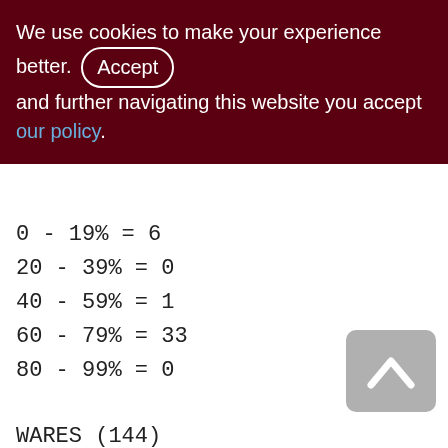We use cookies to make your experience better. By accepting and further navigating this website you accept our policy.
0 - 19% = 6
20 - 39% = 0
40 - 59% = 1
60 - 79% = 33
80 - 99% = 0
WARES (144)
Primary pointer page: 263, Index root page: 264
Total formats: 1, used formats: 1
Average record length: 77.53, total records: 400
Average version length: 0.00, total